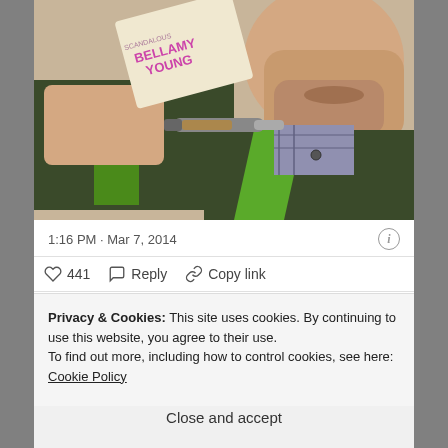[Figure (photo): A man holding a vaping device and a card that reads 'Bellamy Young' and 'Scandalous'. He is wearing a dark olive vest with green lining and a plaid shirt. The lower portion of his face is visible showing stubble. The photo appears to be a selfie-style social media post.]
1:16 PM · Mar 7, 2014
♡ 441   Reply   Copy link
Privacy & Cookies: This site uses cookies. By continuing to use this website, you agree to their use.
To find out more, including how to control cookies, see here: Cookie Policy
Close and accept